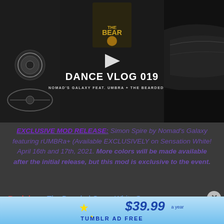[Figure (screenshot): Video thumbnail showing 'DANCE VLOG 019 — NOMAD'S GALAXY FEAT. UMBRA + THE BEARDED GUY' with dark automotive/DJ imagery]
EXCLUSIVE MOD RELEASE: Simon Spire by Nomad's Galaxy featuring rUMBRa+ (Available EXCLUSIVELY on Sensation White! April 16th and 17th, 2021. More colors will be made available after the initial release, but this mod is exclusive to the event.
Backdrop: The Bearded Guy – White Snow
[Figure (screenshot): Tumblr Ad Free banner advertisement showing $39.99 a year pricing]